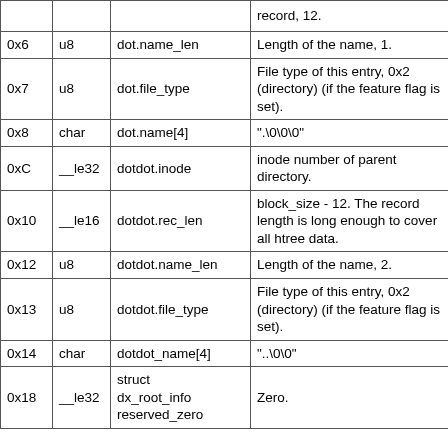| Offset | Type | Name | Description |
| --- | --- | --- | --- |
|  |  |  | record, 12. |
| 0x6 | u8 | dot.name_len | Length of the name, 1. |
| 0x7 | u8 | dot.file_type | File type of this entry, 0x2 (directory) (if the feature flag is set). |
| 0x8 | char | dot.name[4] | ".\0\0\0" |
| 0xC | __le32 | dotdot.inode | inode number of parent directory. |
| 0x10 | __le16 | dotdot.rec_len | block_size - 12. The record length is long enough to cover all htree data. |
| 0x12 | u8 | dotdot.name_len | Length of the name, 2. |
| 0x13 | u8 | dotdot.file_type | File type of this entry, 0x2 (directory) (if the feature flag is set). |
| 0x14 | char | dotdot_name[4] | "..\0\0" |
| 0x18 | __le32 | struct dx_root_info reserved_zero | Zero. |